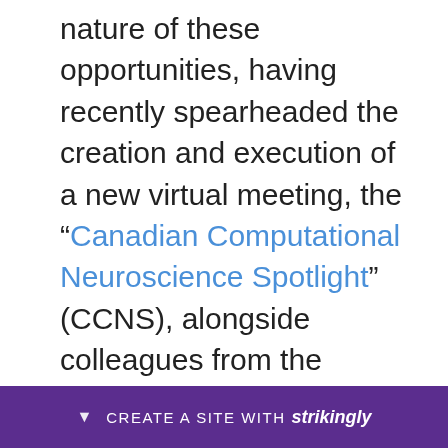nature of these opportunities, having recently spearheaded the creation and execution of a new virtual meeting, the “Canadian Computational Neuroscience Spotlight” (CCNS), alongside colleagues from the Krembil Research Institute and the Krembil Center for Neuroinformatics. Freed from the logistical challenges of organizing a physical space for a conference, we were able to nimbly develop this meeting in a matter of weeks. The virtual setting allowed us to invite speakers from around the world without having to cons… ur poo… very
CREATE A SITE WITH strikingly